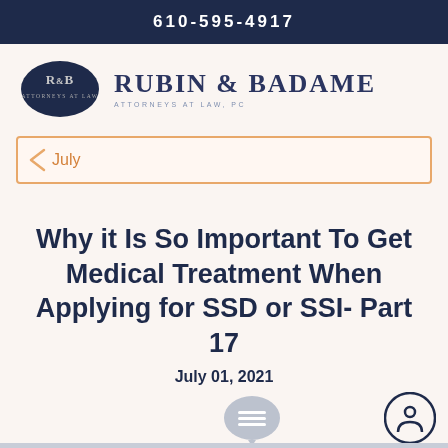610-595-4917
[Figure (logo): Rubin & Badame Attorneys at Law, PC logo — dark navy oval with R&B monogram and firm name]
July
Why it Is So Important To Get Medical Treatment When Applying for SSD or SSI- Part 17
July 01, 2021